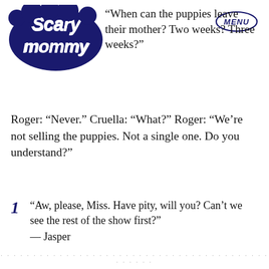[Figure (logo): Scary Mommy logo in dark navy blue with swirly lettering]
[Figure (other): MENU button inside an oval outline in dark navy]
“When can the puppies leave their mother? Two weeks? Three weeks?”
Roger: “Never.” Cruella: “What?” Roger: “We’re not selling the puppies. Not a single one. Do you understand?”
“Aw, please, Miss. Have pity, will you? Can’t we see the rest of the show first?” — Jasper
· · · · · · · · · · · · · · · · · · · · · · · · · · · · · · · · · · · · · · · · · · · · · · · · ·